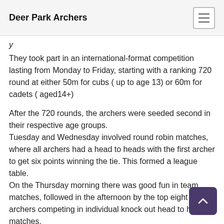Deer Park Archers
They took part in an international-format competition lasting from Monday to Friday, starting with a ranking 720 round at either 50m for cubs ( up to age 13) or 60m for cadets ( aged14+)
After the 720 rounds, the archers were seeded second in their respective age groups.
Tuesday and Wednesday involved round robin matches, where all archers had a head to heads with the first archer to get six points winning the tie. This formed a league table.
On the Thursday morning there was good fun in team matches, followed in the afternoon by the top eight ranked archers competing in individual knock out head to head matches.
On the Friday morning, the tournament moved to the